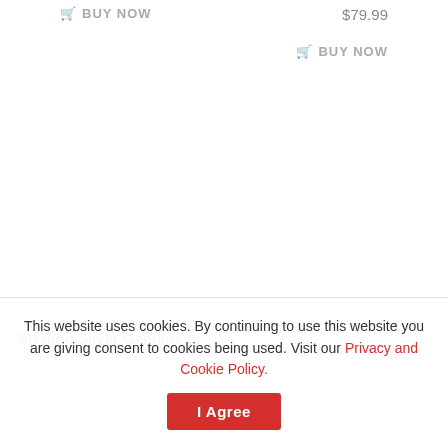🛒 BUY NOW
$79.99
🛒 BUY NOW
Sterling Silver Genuine or
This website uses cookies. By continuing to use this website you are giving consent to cookies being used. Visit our Privacy and Cookie Policy.
I Agree